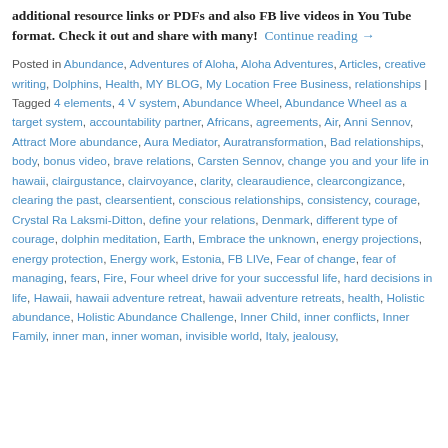additional resource links or PDFs and also FB live videos in You Tube format. Check it out and share with many!  Continue reading →
Posted in Abundance, Adventures of Aloha, Aloha Adventures, Articles, creative writing, Dolphins, Health, MY BLOG, My Location Free Business, relationships | Tagged 4 elements, 4 V system, Abundance Wheel, Abundance Wheel as a target system, accountability partner, Africans, agreements, Air, Anni Sennov, Attract More abundance, Aura Mediator, Auratransformation, Bad relationships, body, bonus video, brave relations, Carsten Sennov, change you and your life in hawaii, clairgustance, clairvoyance, clarity, clearaudience, clearcongizance, clearing the past, clearsentient, conscious relationships, consistency, courage, Crystal Ra Laksmi-Ditton, define your relations, Denmark, different type of courage, dolphin meditation, Earth, Embrace the unknown, energy projections, energy protection, Energy work, Estonia, FB LIVe, Fear of change, fear of managing, fears, Fire, Four wheel drive for your successful life, hard decisions in life, Hawaii, hawaii adventure retreat, hawaii adventure retreats, health, Holistic abundance, Holistic Abundance Challenge, Inner Child, inner conflicts, Inner Family, inner man, inner woman, invisible world, Italy, jealousy,